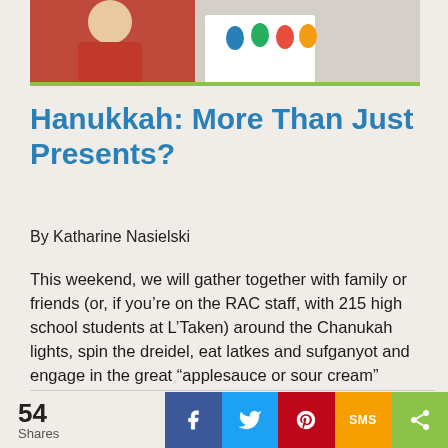[Figure (photo): Photo of people holding a Hanukkah card with colorful dreidels, person in red shirt visible. Green bar at bottom of image.]
Hanukkah: More Than Just Presents?
By Katharine Nasielski
This weekend, we will gather together with family or friends (or, if you’re on the RAC staff, with 215 high school students at L’Taken) around the Chanukah lights, spin the dreidel, eat latkes and sufganyot and engage in the great “applesauce or sour cream” debate.
54 Shares | Facebook | Twitter | Pinterest | SMS | Share